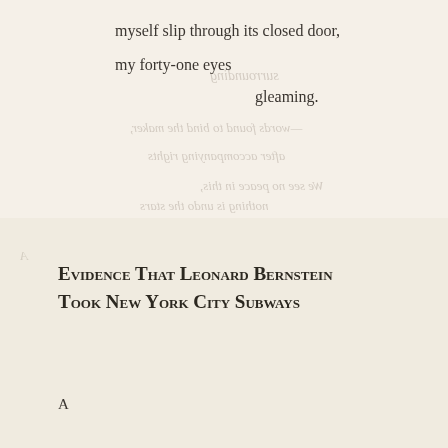myself slip through its closed door,
my forty-one eyes
gleaming.
Evidence That Leonard Bernstein Took New York City Subways
A